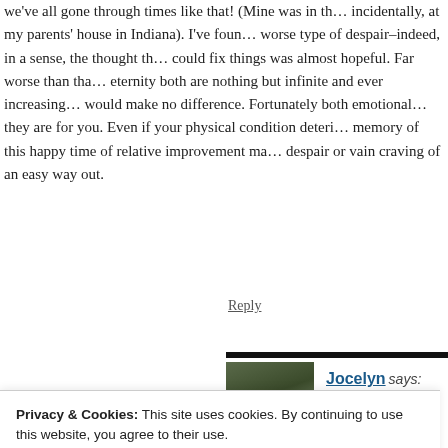we've all gone through times like that! (Mine was in th... incidentally, at my parents' house in Indiana). I've foun... worse type of despair–indeed, in a sense, the thought th... could fix things was almost hopeful. Far worse than tha... eternity both are nothing but infinite and ever increasing... would make no difference. Fortunately both emotional... they are for you. Even if your physical condition deteri... memory of this happy time of relative improvement ma... despair or vain craving of an easy way out.
Reply
Jocelyn says:
October 9, 2013 at 9:23 am
Privacy & Cookies: This site uses cookies. By continuing to use this website, you agree to their use.
To find out more, including how to control cookies, see here: Cookie Policy
Close and accept